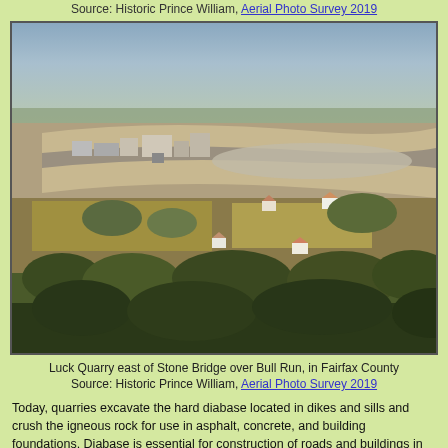Source: Historic Prince William, Aerial Photo Survey 2019
[Figure (photo): Aerial photograph of Luck Quarry east of Stone Bridge over Bull Run, in Fairfax County. The image shows a large quarry pit with industrial buildings, surrounded by forested areas and farmland with rural homes.]
Luck Quarry east of Stone Bridge over Bull Run, in Fairfax County
Source: Historic Prince William, Aerial Photo Survey 2019
Today, quarries excavate the hard diabase located in dikes and sills and crush the igneous rock for use in asphalt, concrete, and building foundations. Diabase is essential for construction of roads and buildings in Northern Virginia. The distance between quarries and building sites is a major factor in the cost of construction. The cost of transporting dump trucks loaded with aggregate for foundations, concrete, and asphalt can